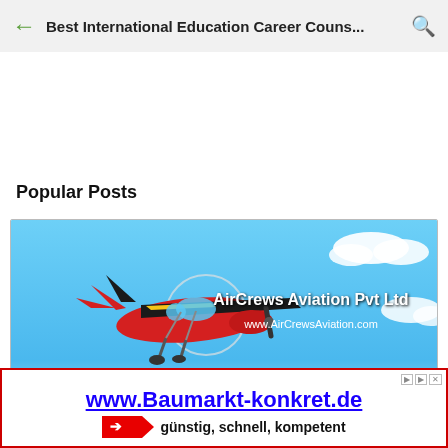Best International Education Career Couns...
Popular Posts
[Figure (illustration): AirCrews Aviation Pvt Ltd banner image with a small red airplane flying against a blue sky with clouds. Text reads 'AirCrews Aviation Pvt Ltd' and 'www.AirCrewsAviation.com']
www.Baumarkt-konkret.de
gunstig, schnell, kompetent